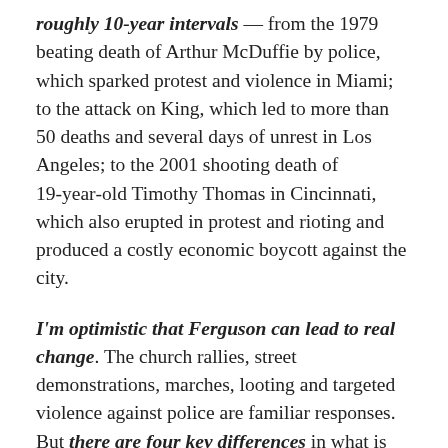roughly 10-year intervals — from the 1979 beating death of Arthur McDuffie by police, which sparked protest and violence in Miami; to the attack on King, which led to more than 50 deaths and several days of unrest in Los Angeles; to the 2001 shooting death of 19-year-old Timothy Thomas in Cincinnati, which also erupted in protest and rioting and produced a costly economic boycott against the city.
I'm optimistic that Ferguson can lead to real change. The church rallies, street demonstrations, marches, looting and targeted violence against police are familiar responses. But there are four key differences in what is unfolding in Ferguson: first, the cumulative effect of recent cases of police misconduct against black people across the nation; second, a backlash against rhetoric that blames poor black youth for the way they are treated by police; third, the use